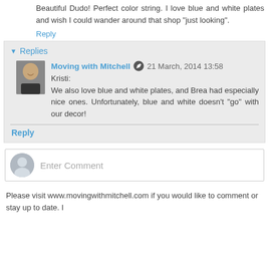Beautiful Dudo! Perfect color string. I love blue and white plates and wish I could wander around that shop "just looking".
Reply
Replies
Moving with Mitchell  21 March, 2014 13:58
Kristi:
We also love blue and white plates, and Brea had especially nice ones. Unfortunately, blue and white doesn't "go" with our decor!
Reply
Enter Comment
Please visit www.movingwithmitchell.com if you would like to comment or stay up to date. I